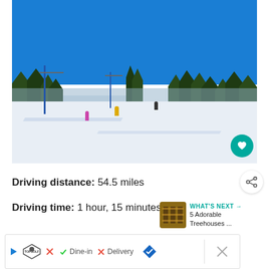[Figure (photo): Ski slope on a sunny winter day with bright blue sky, evergreen trees in the background, a ski lift with blue towers on the left, and several skiers on a snow-covered run.]
Driving distance: 54.5 miles
Driving time: 1 hour, 15 minutes
WHAT'S NEXT → 5 Adorable Treehouses ...
✓ Dine-in  ✗ Delivery